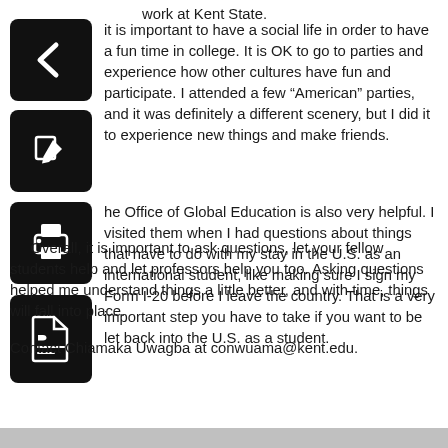work at Kent State.
[Figure (illustration): Back arrow icon button (black rounded square with white left arrow)]
It is important to have a social life in order to have a fun time in college. It is OK to go to parties and experience how other cultures have fun and participate. I attended a few “American” parties, and it was definitely a different scenery, but I did it to experience new things and make friends.
[Figure (illustration): Edit/pencil icon button (black rounded square with white pencil/edit icon)]
[Figure (illustration): Print icon button (black rounded square with white printer icon)]
The Office of Global Education is also very helpful. I visited them when I had questions about things that have to do with my stay in the U.S. as an international student, like making sure I sign my Form I-20 before I leave the country. That is a very important step you have to take if you want to be let back into the U.S. as a student.
[Figure (illustration): PDF/document icon button (black rounded square with white document/PDF icon)]
Overall, it is important to ask questions, let your fellow students help and let professors help you too. Asking questions helped me understand things a little better, and with time, things will fall into place.
Contact Chiamaka Uwagba at conwuama@kent.edu.